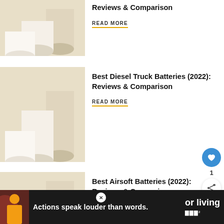Reviews & Comparison
READ MORE
[Figure (photo): Three white cylindrical podiums on beige background (top card, cropped)]
Best Diesel Truck Batteries (2022): Reviews & Comparison
READ MORE
[Figure (photo): Three white cylindrical podiums on beige background (middle card)]
Best Airsoft Batteries (2022): Reviews & Comparison
READ MORE
[Figure (photo): Three white cylindrical podiums on beige background (bottom card)]
1
WHAT'S NEXT → Best Solar Battery...
Actions speak louder than words.